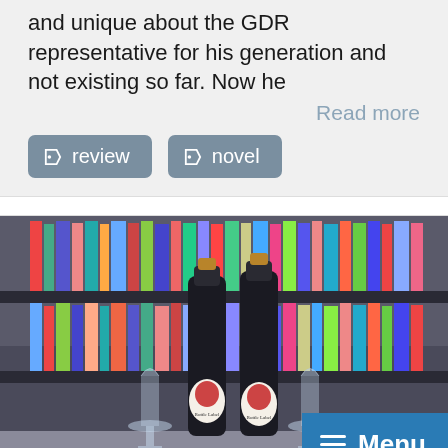and unique about the GDR representative for his generation and not existing so far. Now he
Read more
review
novel
[Figure (photo): Two wine/champagne bottles with portrait labels and two champagne glasses on a table, set against a background of bookshelves filled with colorful books.]